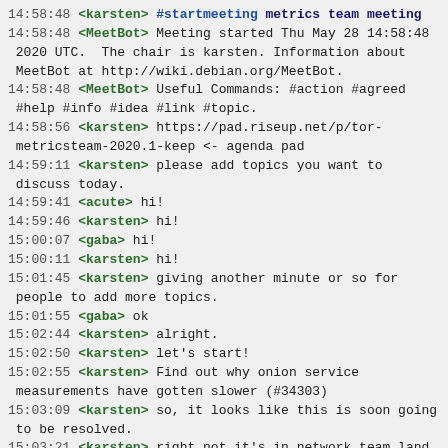14:58:48 <karsten> #startmeeting metrics team meeting
14:58:48 <MeetBot> Meeting started Thu May 28 14:58:48 2020 UTC.  The chair is karsten. Information about MeetBot at http://wiki.debian.org/MeetBot.
14:58:48 <MeetBot> Useful Commands: #action #agreed #help #info #idea #link #topic.
14:58:56 <karsten> https://pad.riseup.net/p/tor-metricsteam-2020.1-keep <- agenda pad
14:59:11 <karsten> please add topics you want to discuss today.
14:59:41 <acute> hi!
14:59:46 <karsten> hi!
15:00:07 <gaba> hi!
15:00:11 <karsten> hi!
15:01:45 <karsten> giving another minute or so for people to add more topics.
15:01:55 <gaba> ok
15:02:44 <karsten> alright.
15:02:50 <karsten> let's start!
15:02:55 <karsten> Find out why onion service measurements have gotten slower (#34303)
15:03:09 <karsten> so, it looks like this is soon going to be resolved.
15:03:21 <karsten> right not it's in network team land, I think.
15:03:21 <gaba> nice!
15:03:25 <karsten> right now*
15:03:30 <acute> really good catch!
15:03:35 <karsten> :)
15:03:52 <karsten> if you're still running so ok, I...